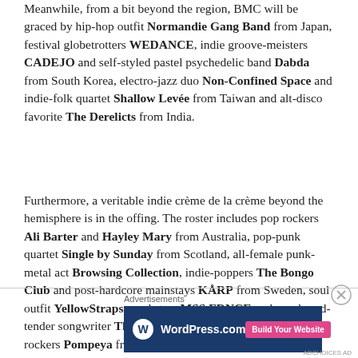Meanwhile, from a bit beyond the region, BMC will be graced by hip-hop outfit Normandie Gang Band from Japan, festival globetrotters WEDANCE, indie groove-meisters CADEJO and self-styled pastel psychedelic band Dabda from South Korea, electro-jazz duo Non-Confined Space and indie-folk quartet Shallow Levée from Taiwan and alt-disco favorite The Derelicts from India.
Furthermore, a veritable indie crème de la crème beyond the hemisphere is in the offing. The roster includes pop rockers Ali Barter and Hayley Mary from Australia, pop-punk quartet Single by Sunday from Scotland, all-female punk-metal act Browsing Collection, indie-poppers The Bongo Club and post-hardcore mainstays KÅRP from Sweden, soul outfit YellowStraps, punksters MSS FRNCE and rough-and-tender songwriter The Rodeo from France as well as indie rockers Pompeya from Russia.
Advertisements
[Figure (other): WordPress.com advertisement banner with dark blue background, WordPress logo and 'Build Your Website' pink button]